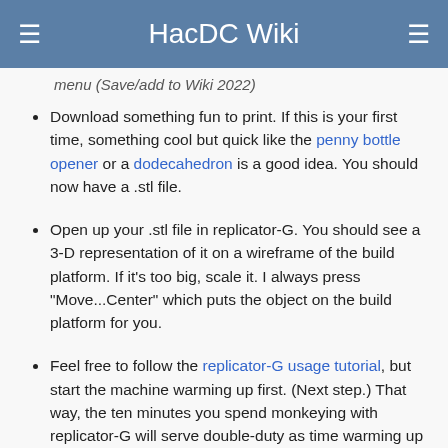HacDC Wiki
menu (Save/add to Wiki 2022)
Download something fun to print. If this is your first time, something cool but quick like the penny bottle opener or a dodecahedron is a good idea. You should now have a .stl file.
Open up your .stl file in replicator-G. You should see a 3-D representation of it on a wireframe of the build platform. If it's too big, scale it. I always press "Move...Center" which puts the object on the build platform for you.
Feel free to follow the replicator-G usage tutorial, but start the machine warming up first. (Next step.) That way, the ten minutes you spend monkeying with replicator-G will serve double-duty as time warming up the machine.